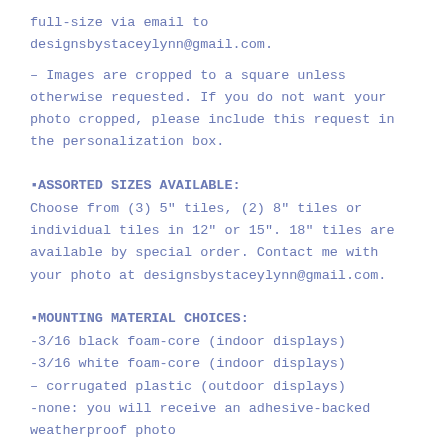full-size via email to designsbystaceylynn@gmail.com.
– Images are cropped to a square unless otherwise requested. If you do not want your photo cropped, please include this request in the personalization box.
▪ASSORTED SIZES AVAILABLE:
Choose from (3) 5" tiles, (2) 8" tiles or individual tiles in 12" or 15". 18" tiles are available by special order. Contact me with your photo at designsbystaceylynn@gmail.com.
▪MOUNTING MATERIAL CHOICES:
-3/16 black foam-core (indoor displays)
-3/16 white foam-core (indoor displays)
– corrugated plastic (outdoor displays)
-none: you will receive an adhesive-backed weatherproof photo
Requests for tiles using a licensed or copyright protected